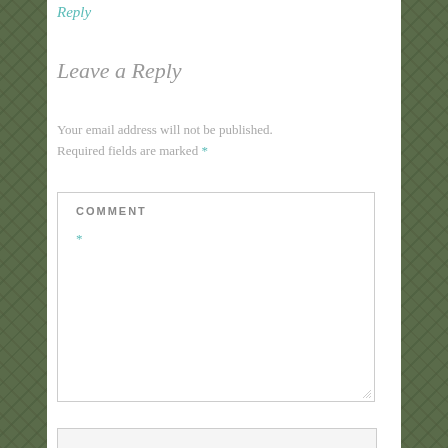Reply
Leave a Reply
Your email address will not be published. Required fields are marked *
COMMENT *